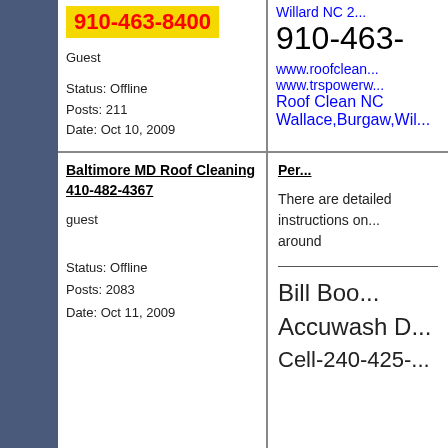910-463-8400
Guest
Status: Offline
Posts: 211
Date: Oct 10, 2009
Willard NC 2...
910-463-...
www.roofclean...
www.trspowerw...
Roof Clean NC
Wallace,Burgaw,Wil...
Baltimore MD Roof Cleaning
410-482-4367
Perm
guest
There are detailed instructions on... around
Status: Offline
Posts: 2083
Date: Oct 11, 2009
Bill Boo...
Accuwash D...
Cell-240-425-...